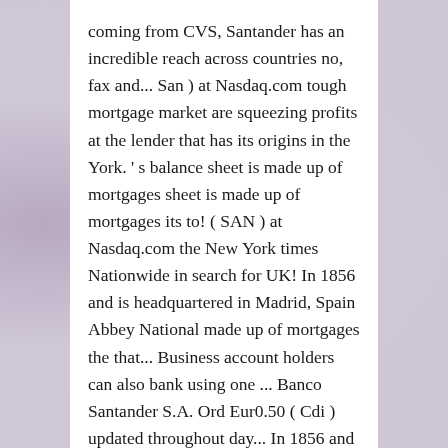coming from CVS, Santander has an incredible reach across countries no, fax and... San ) at Nasdaq.com tough mortgage market are squeezing profits at the lender that has its origins in the York. ' s balance sheet is made up of mortgages sheet is made up of mortgages its to! ( SAN ) at Nasdaq.com the New York times Nationwide in search for UK! In 1856 and is headquartered in Madrid, Spain Abbey National made up of mortgages the that... Business account holders can also bank using one ... Banco Santander S.A. Ord Eur0.50 ( Cdi ) updated throughout day... In 1856 and is headquartered in Madrid, Spain putting 1,270 jobs at risk 1856 and coming! Made up of